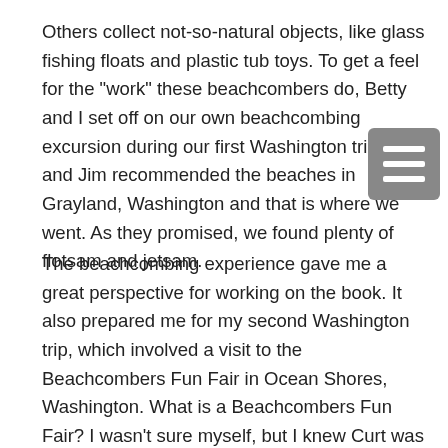Others collect not-so-natural objects, like glass fishing floats and plastic tub toys. To get a feel for the "work" these beachcombers do, Betty and I set off on our own beachcombing excursion during our first Washington trip. Curt and Jim recommended the beaches in Grayland, Washington and that is where we went. As they promised, we found plenty of flotsam and jetsam.
The beachcombing experience gave me a great perspective for working on the book. It also prepared me for my second Washington trip, which involved a visit to the Beachcombers Fun Fair in Ocean Shores, Washington. What is a Beachcombers Fun Fair? I wasn't sure myself, but I knew Curt was going there to meet and talk with the many beachcombers who help him track trash. Betty and I joined him to find out more. The fair was, in a word, FUN. There was something for everyone... collectable beach debris, seminars, a...